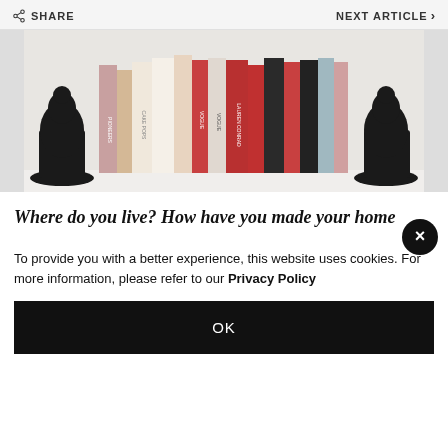SHARE   NEXT ARTICLE >
[Figure (photo): A shelf of books between two black figurine bookends shaped like squatting figures. Books visible include 'Cake Pops', 'VOGUE', 'Pioneer', and other titles.]
Where do you live? How have you made your home
To provide you with a better experience, this website uses cookies. For more information, please refer to our Privacy Policy
OK